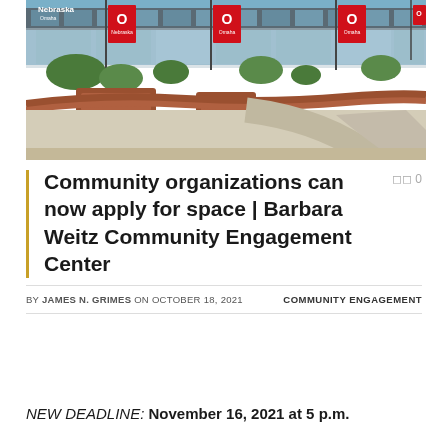[Figure (photo): Exterior photo of the Barbara Weitz Community Engagement Center building at University of Nebraska Omaha, showing brick planters, flagpoles with Nebraska Omaha banners, and modern glass building facade]
Community organizations can now apply for space | Barbara Weitz Community Engagement Center
BY JAMES N. GRIMES ON OCTOBER 18, 2021   COMMUNITY ENGAGEMENT
NEW DEADLINE: November 16, 2021 at 5 p.m.